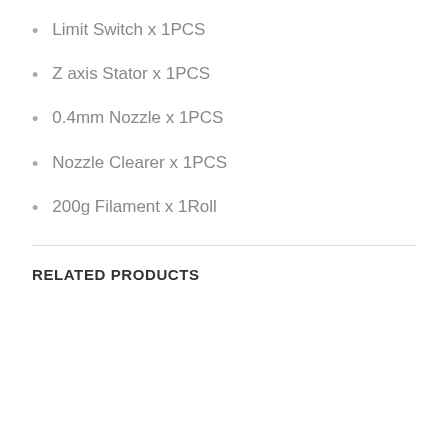Limit Switch x 1PCS
Z axis Stator x 1PCS
0.4mm Nozzle x 1PCS
Nozzle Clearer x 1PCS
200g Filament x 1Roll
RELATED PRODUCTS